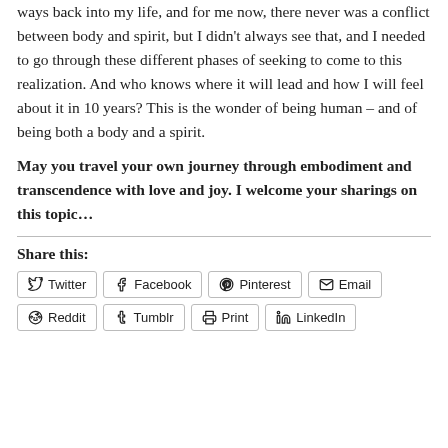ways back into my life, and for me now, there never was a conflict between body and spirit, but I didn't always see that, and I needed to go through these different phases of seeking to come to this realization. And who knows where it will lead and how I will feel about it in 10 years? This is the wonder of being human – and of being both a body and a spirit.
May you travel your own journey through embodiment and transcendence with love and joy. I welcome your sharings on this topic…
Share this:
Twitter | Facebook | Pinterest | Email | Reddit | Tumblr | Print | LinkedIn